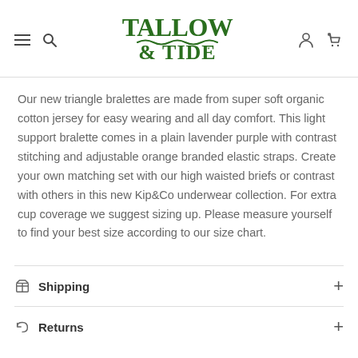Tallow & Tide
Our new triangle bralettes are made from super soft organic cotton jersey for easy wearing and all day comfort. This light support bralette comes in a plain lavender purple with contrast stitching and adjustable orange branded elastic straps. Create your own matching set with our high waisted briefs or contrast with others in this new Kip&Co underwear collection. For extra cup coverage we suggest sizing up. Please measure yourself to find your best size according to our size chart.
Shipping
Returns